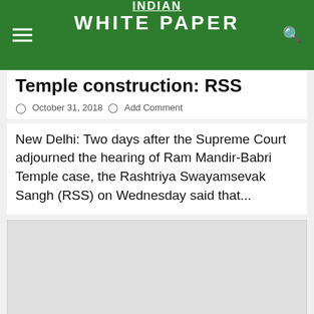INDIAN WHITE PAPER
Temple construction: RSS
October 31, 2018  Add Comment
New Delhi: Two days after the Supreme Court adjourned the hearing of Ram Mandir-Babri Temple case, the Rashtriya Swayamsevak Sangh (RSS) on Wednesday said that...
[Figure (other): Advertisement block placeholder]